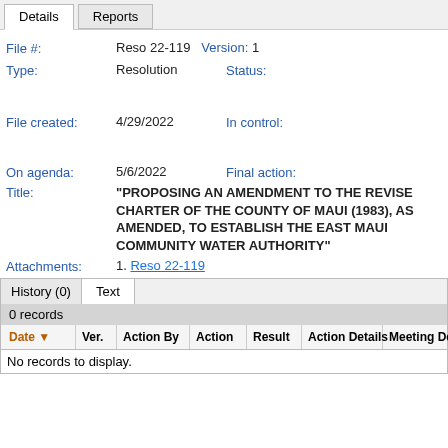Details | Reports
File #: Reso 22-119  Version: 1
Type: Resolution  Status:
File created: 4/29/2022  In control:
On agenda: 5/6/2022  Final action:
Title: "PROPOSING AN AMENDMENT TO THE REVISED CHARTER OF THE COUNTY OF MAUI (1983), AS AMENDED, TO ESTABLISH THE EAST MAUI COMMUNITY WATER AUTHORITY"
Attachments: 1. Reso 22-119
| Date | Ver. | Action By | Action | Result | Action Details | Meeting Details |
| --- | --- | --- | --- | --- | --- | --- |
No records to display.